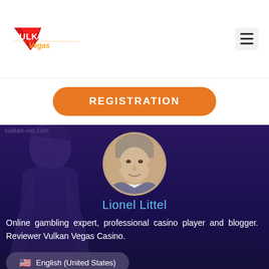[Figure (logo): Vulkan Vegas casino logo — red and white stylized text with orange flame motif]
REGISTRATION
[Figure (photo): Circular profile photo of Lionel Littel, a middle-aged man with short grey-brown hair]
Lionel Littel
Online gambling expert, professional casino player and blogger. Reviewer Vulkan Vegas Casino.
🇺🇸 English (United States)